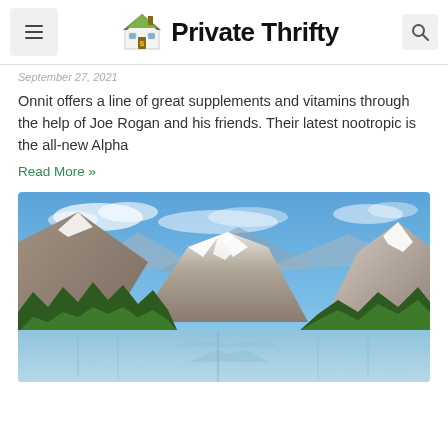Private Thrifty
September 27, 2021
Onnit offers a line of great supplements and vitamins through the help of Joe Rogan and his friends. Their latest nootropic is the all-new Alpha
Read More »
[Figure (photo): Mountain lake landscape with snow-capped peaks, pine forest along the shores, and calm reflective water under a blue sky with clouds.]